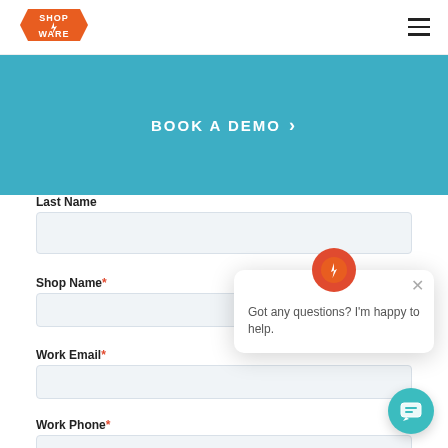[Figure (logo): Shop-Ware logo: orange hexagon badge with white text 'SHOP WARE' and a lightning bolt icon]
[Figure (other): Hamburger menu icon (three horizontal lines)]
BOOK A DEMO ›
Last Name
Shop Name*
Work Email*
Work Phone*
Got any questions? I'm happy to help.